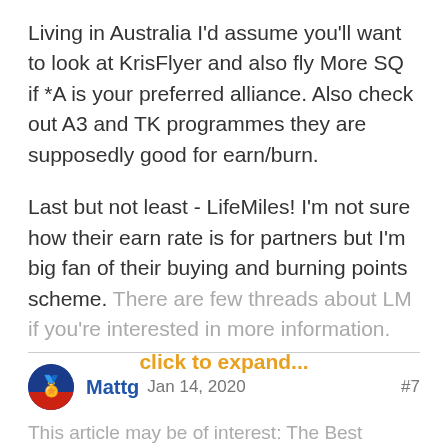Living in Australia I'd assume you'll want to look at KrisFlyer and also fly More SQ if *A is your preferred alliance. Also check out A3 and TK programmes they are supposedly good for earn/burn.
Last but not least - LifeMiles! I'm not sure how their earn rate is for partners but I'm big fan of their buying and burning points scheme. There are few threads about LM if you're interested in more information.
click to expand...
Mattg Jan 14, 2020 #7
This article may be of interest: The Best